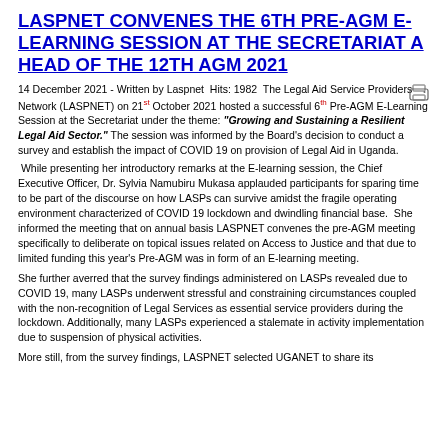LASPNET CONVENES THE 6TH PRE-AGM E-LEARNING SESSION AT THE SECRETARIAT A HEAD OF THE 12TH AGM 2021
14 December 2021 - Written by Laspnet Hits: 1982 The Legal Aid Service Providers Network (LASPNET) on 21st October 2021 hosted a successful 6th Pre-AGM E-Learning Session at the Secretariat under the theme: "Growing and Sustaining a Resilient Legal Aid Sector." The session was informed by the Board's decision to conduct a survey and establish the impact of COVID 19 on provision of Legal Aid in Uganda.
While presenting her introductory remarks at the E-learning session, the Chief Executive Officer, Dr. Sylvia Namubiru Mukasa applauded participants for sparing time to be part of the discourse on how LASPs can survive amidst the fragile operating environment characterized of COVID 19 lockdown and dwindling financial base. She informed the meeting that on annual basis LASPNET convenes the pre-AGM meeting specifically to deliberate on topical issues related on Access to Justice and that due to limited funding this year's Pre-AGM was in form of an E-learning meeting.
She further averred that the survey findings administered on LASPs revealed due to COVID 19, many LASPs underwent stressful and constraining circumstances coupled with the non-recognition of Legal Services as essential service providers during the lockdown. Additionally, many LASPs experienced a stalemate in activity implementation due to suspension of physical activities.
More still, from the survey findings, LASPNET selected UGANET to share its